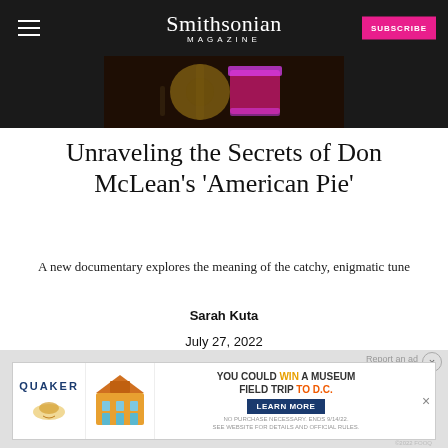Smithsonian MAGAZINE
[Figure (photo): Close-up photo of a guitar and pink/magenta guitar against a dark background]
Unraveling the Secrets of Don McLean's 'American Pie'
A new documentary explores the meaning of the catchy, enigmatic tune
Sarah Kuta
July 27, 2022
[Figure (other): Quaker advertisement: YOU COULD WIN A MUSEUM FIELD TRIP TO D.C. Learn More. No purchase necessary. Ends 9/14/22.]